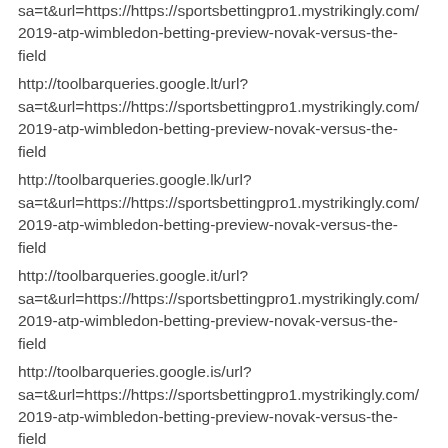sa=t&url=https://https://sportsbettingpro1.mystrikingly.com/2019-atp-wimbledon-betting-preview-novak-versus-the-field
http://toolbarqueries.google.lt/url?sa=t&url=https://https://sportsbettingpro1.mystrikingly.com/2019-atp-wimbledon-betting-preview-novak-versus-the-field
http://toolbarqueries.google.lk/url?sa=t&url=https://https://sportsbettingpro1.mystrikingly.com/2019-atp-wimbledon-betting-preview-novak-versus-the-field
http://toolbarqueries.google.it/url?sa=t&url=https://https://sportsbettingpro1.mystrikingly.com/2019-atp-wimbledon-betting-preview-novak-versus-the-field
http://toolbarqueries.google.is/url?sa=t&url=https://https://sportsbettingpro1.mystrikingly.com/2019-atp-wimbledon-betting-preview-novak-versus-the-field